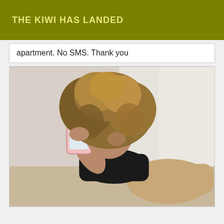THE KIWI HAS LANDED
apartment. No SMS. Thank you
[Figure (photo): A woman with curly blonde/brown hair lying down taking a selfie with a pink smartphone, wearing a black crop top and tan/beige shorts, photographed against a bright window background.]